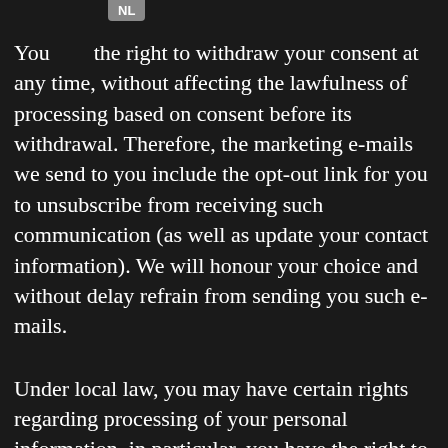You [NL] the right to withdraw your consent at any time, without affecting the lawfulness of processing based on consent before its withdrawal. Therefore, the marketing e-mails we send to you include the opt-out link for you to unsubscribe from receiving such communication (as well as update your contact information). We will honour your choice and without delay refrain from sending you such e-mails.
Under local law, you may have certain rights regarding processing of your personal information, in particular, you have the right to request: (i) access to your personal information, (ii) rectification or erasure of your personal information, (iii) restriction of processing concerning you, (iv) objection to processing that i...